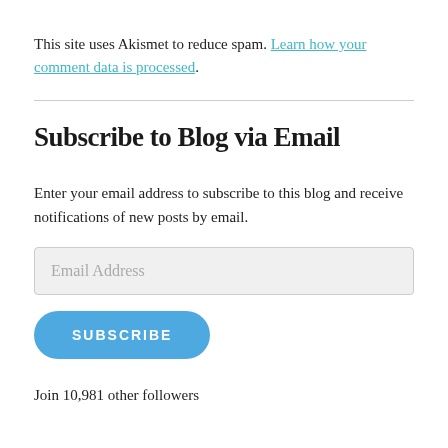This site uses Akismet to reduce spam. Learn how your comment data is processed.
Subscribe to Blog via Email
Enter your email address to subscribe to this blog and receive notifications of new posts by email.
Email Address
SUBSCRIBE
Join 10,981 other followers